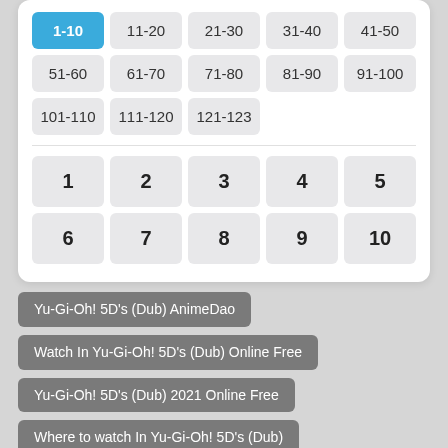1-10 (active), 11-20, 21-30, 31-40, 41-50, 51-60, 61-70, 71-80, 81-90, 91-100, 101-110, 111-120, 121-123
1, 2, 3, 4, 5, 6, 7, 8, 9, 10
Yu-Gi-Oh! 5D's (Dub) AnimeDao
Watch In Yu-Gi-Oh! 5D's (Dub) Online Free
Yu-Gi-Oh! 5D's (Dub) 2021 Online Free
Where to watch In Yu-Gi-Oh! 5D's (Dub)
In Yu-Gi-Oh! 5D's (Dub) anime free online